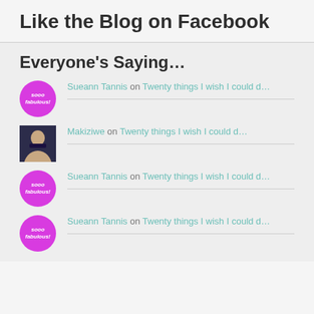Like the Blog on Facebook
Everyone's Saying…
Sueann Tannis on Twenty things I wish I could d…
Makiziwe on Twenty things I wish I could d…
Sueann Tannis on Twenty things I wish I could d…
Sueann Tannis on Twenty things I wish I could d…